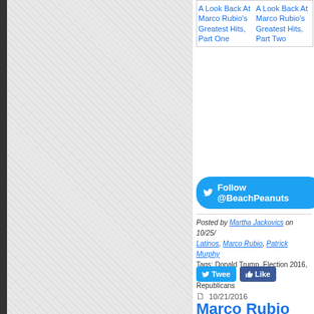[Figure (screenshot): Left sidebar with crosshatch/diagonal pattern background, dark bar on far left]
A Look Back At Marco Rubio's Greatest Hits, Part One
A Look Back At Marco Rubio's Greatest Hits, Part Two
Follow @BeachPeanuts
Posted by Martha Jackovics on 10/25/ Latinos, Marco Rubio, Patrick Murphy Tags: Donald Trump, Election 2016, Fl Republicans
Tweet
Like
10/21/2016
Marco Rubio Insults Debate